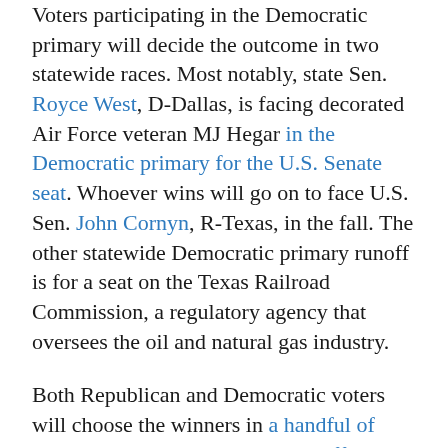Voters participating in the Democratic primary will decide the outcome in two statewide races. Most notably, state Sen. Royce West, D-Dallas, is facing decorated Air Force veteran MJ Hegar in the Democratic primary for the U.S. Senate seat. Whoever wins will go on to face U.S. Sen. John Cornyn, R-Texas, in the fall. The other statewide Democratic primary runoff is for a seat on the Texas Railroad Commission, a regulatory agency that oversees the oil and natural gas industry.
Both Republican and Democratic voters will choose the winners in a handful of congressional and legislative runoff races.
Here's how to register to vote: